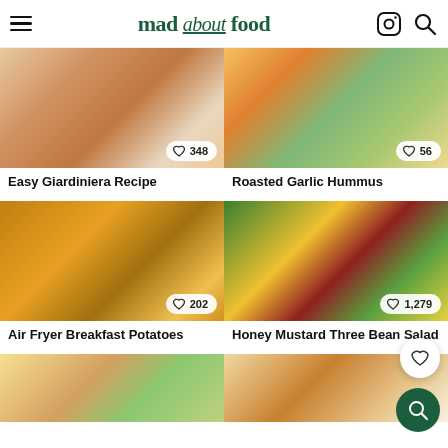mad about food
[Figure (photo): Easy Giardiniera Recipe food photo with heart badge showing 348 likes]
[Figure (photo): Roasted Garlic Hummus food photo with heart badge showing 56 likes]
Easy Giardiniera Recipe
Roasted Garlic Hummus
[Figure (photo): Air Fryer Breakfast Potatoes food photo with heart badge showing 202 likes]
[Figure (photo): Honey Mustard Three Bean Salad food photo with heart badge showing 1,279 likes]
Air Fryer Breakfast Potatoes
Honey Mustard Three Bean Salad
[Figure (photo): Pasta dish food photo (partially visible)]
[Figure (photo): Sauce drizzle food photo (partially visible)]